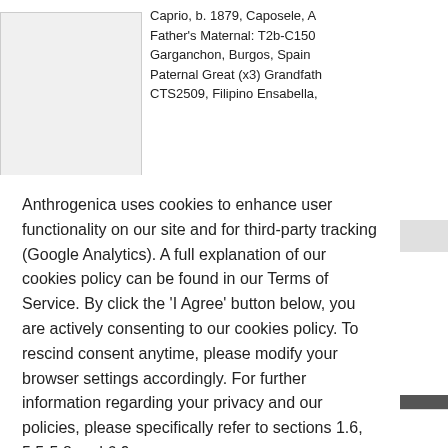Caprio, b. 1879, Caposele, A
Father's Maternal: T2b-C150
Garganchon, Burgos, Spain
Paternal Great (x3) Grandfath
CTS2509, Filipino Ensabella,
a For Th
(05-09-2
(05-10-2
2016), #
l, so I am
expect to
and U15
am mark
not surpr
Anthrogenica uses cookies to enhance user functionality on our site and for third-party tracking (Google Analytics). A full explanation of our cookies policy can be found in our Terms of Service. By click the 'I Agree' button below, you are actively consenting to our cookies policy. To rescind consent anytime, please modify your browser settings accordingly. For further information regarding your privacy and our policies, please specifically refer to sections 1.6, 5.5-5.8 and 6.9.
I agree
Y-DNA (P):    DF27/>Z195>FGC23196